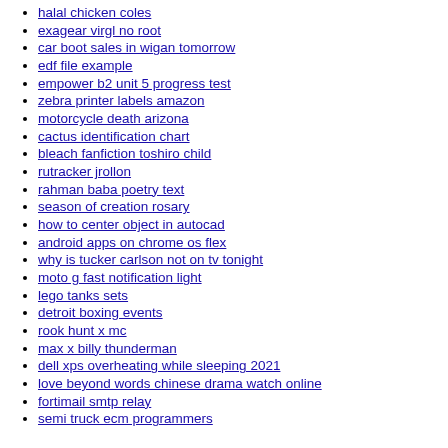halal chicken coles
exagear virgl no root
car boot sales in wigan tomorrow
edf file example
empower b2 unit 5 progress test
zebra printer labels amazon
motorcycle death arizona
cactus identification chart
bleach fanfiction toshiro child
rutracker jrollon
rahman baba poetry text
season of creation rosary
how to center object in autocad
android apps on chrome os flex
why is tucker carlson not on tv tonight
moto g fast notification light
lego tanks sets
detroit boxing events
rook hunt x mc
max x billy thunderman
dell xps overheating while sleeping 2021
love beyond words chinese drama watch online
fortimail smtp relay
semi truck ecm programmers